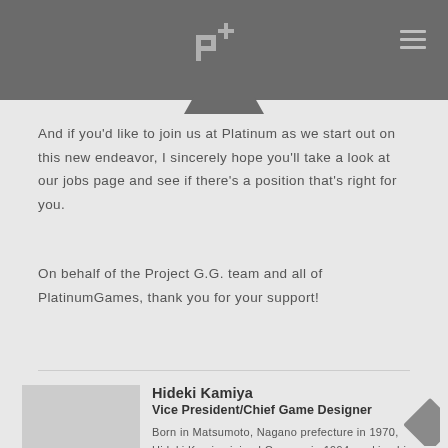PlatinumGames website header with logo and navigation
And if you'd like to join us at Platinum as we start out on this new endeavor, I sincerely hope you'll take a look at our jobs page and see if there's a position that's right for you.
On behalf of the Project G.G. team and all of PlatinumGames, thank you for your support!
Hideki Kamiya
Vice President/Chief Game Designer
Born in Matsumoto, Nagano prefecture in 1970, Hideki Kamiya joined Capcom in 1994, making his directorial debut with Resident Evil 2 in 1998. While at Capcom, he directed the original titles Devil May Cry and Viewtiful Joe. In 2006 he created Okami, a